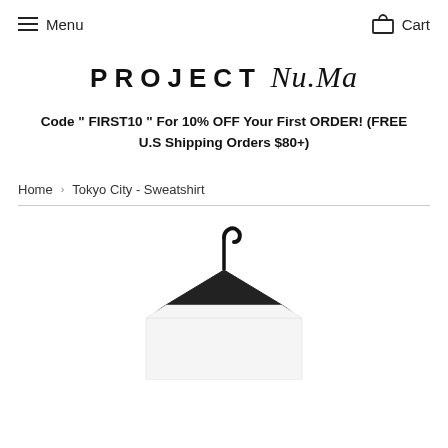≡ Menu   🛒 Cart
[Figure (logo): PROJECT Nu.Ma logo — 'PROJECT' in bold sans-serif uppercase spaced lettering, 'Nu.Ma' in italic handwritten serif script]
Code " FIRST10 " For 10% OFF Your First ORDER! (FREE U.S Shipping Orders $80+)
Home > Tokyo City - Sweatshirt
[Figure (photo): Partial product photo showing a white sweatshirt on a black hanger, cropped at the bottom of the page]